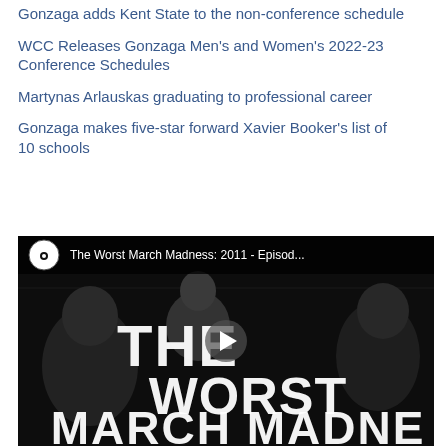Gonzaga adds Kent State to the non-conference schedule
WCC Releases Gonzaga Men's and Women's 2022-23 Conference Schedules
Martynas Arlauskas graduating to professional career
Gonzaga makes five-star forward Xavier Booker's list of 10 schools
[Figure (screenshot): YouTube video thumbnail for 'The Worst March Madness: 2011 - Episod...' showing black and white photo of people with large text 'THE WORST MARCH MADNE' overlaid, with YouTube play button icon]